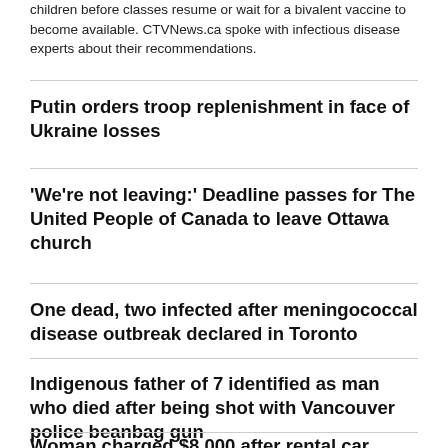children before classes resume or wait for a bivalent vaccine to become available. CTVNews.ca spoke with infectious disease experts about their recommendations.
Putin orders troop replenishment in face of Ukraine losses
'We're not leaving:' Deadline passes for The United People of Canada to leave Ottawa church
One dead, two infected after meningococcal disease outbreak declared in Toronto
Indigenous father of 7 identified as man who died after being shot with Vancouver police beanbag gun
Woman charged $8,000 after rental car